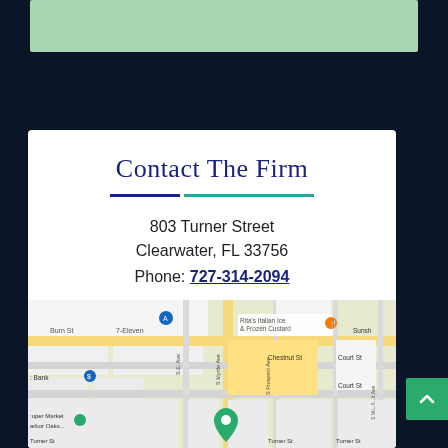[Figure (other): Light green decorative bar at top of page]
Contact The Firm
803 Turner Street
Clearwater, FL 33756
Phone: 727-314-2094
[Figure (map): Google Maps view of 803 Turner Street, Clearwater, FL 33756 showing nearby landmarks: 7-Eleven, Rita's Italian Ice & Frozen Custard, Chestnut St, Court St, Turner St, S.E. Ave, S Myrtle Ave, S Prospect Ave, S M.L.K. Jr Ave, Bank, Super Market Harbor Oaks]